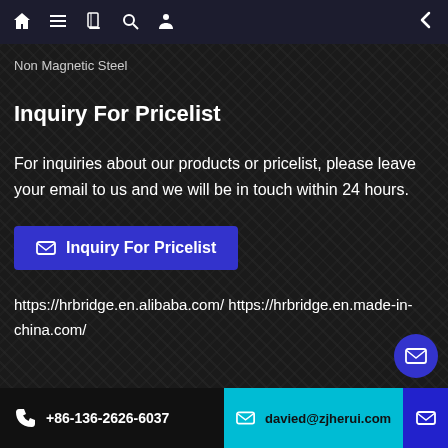Non Magnetic Steel — navigation bar with home, menu, book, search, profile, back icons
Non Magnetic Steel
Inquiry For Pricelist
For inquiries about our products or pricelist, please leave your email to us and we will be in touch within 24 hours.
✉ Inquiry For Pricelist
https://hrbridge.en.alibaba.com/ https://hrbridge.en.made-in-china.com/
📞 +86-136-2626-6037   ✉ davied@zjherui.com